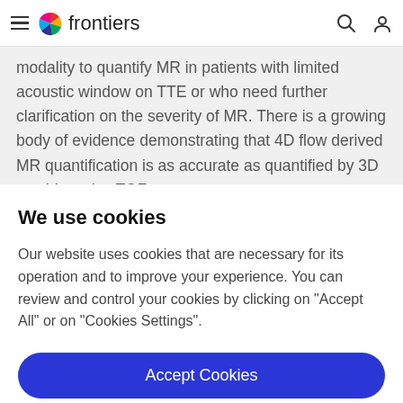frontiers
modality to quantify MR in patients with limited acoustic window on TTE or who need further clarification on the severity of MR. There is a growing body of evidence demonstrating that 4D flow derived MR quantification is as accurate as quantified by 3D semi-invasive TOF
We use cookies
Our website uses cookies that are necessary for its operation and to improve your experience. You can review and control your cookies by clicking on "Accept All" or on "Cookies Settings".
Accept Cookies
Cookies Settings